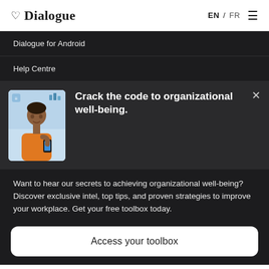♡ Dialogue  EN / FR ☰
Dialogue for Android
Help Centre
[Figure (screenshot): Popup card with an image of a person in an orange shirt using a phone/laptop, with bold white text 'Crack the code to organizational well-being.' and a close X button]
Want to hear our secrets to achieving organizational well-being? Discover exclusive intel, top tips, and proven strategies to improve your workplace. Get your free toolbox today.
Access your toolbox